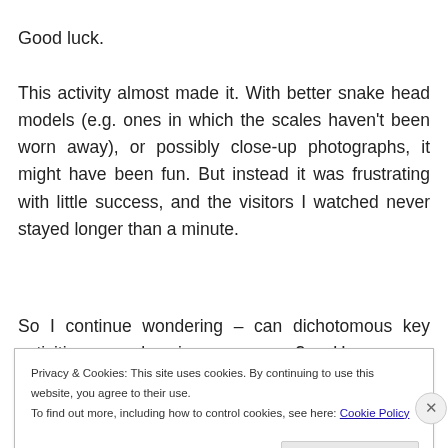Good luck.
This activity almost made it. With better snake head models (e.g. ones in which the scales haven't been worn away), or possibly close-up photographs, it might have been fun. But instead it was frustrating with little success, and the visitors I watched never stayed longer than a minute.
So I continue wondering – can dichotomous key activities work in museums? Have you seen/created/participated in
Privacy & Cookies: This site uses cookies. By continuing to use this website, you agree to their use.
To find out more, including how to control cookies, see here: Cookie Policy
Close and accept